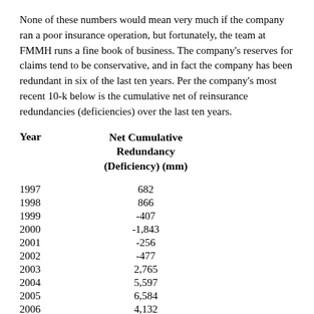None of these numbers would mean very much if the company ran a poor insurance operation, but fortunately, the team at FMMH runs a fine book of business. The company's reserves for claims tend to be conservative, and in fact the company has been redundant in six of the last ten years. Per the company's most recent 10-k below is the cumulative net of reinsurance redundancies (deficiencies) over the last ten years.
| Year | Net Cumulative Redundancy (Deficiency) (mm) |
| --- | --- |
| 1997 | 682 |
| 1998 | 866 |
| 1999 | -407 |
| 2000 | -1,843 |
| 2001 | -256 |
| 2002 | -477 |
| 2003 | 2,765 |
| 2004 | 5,597 |
| 2005 | 6,584 |
| 2006 | 4,132 |